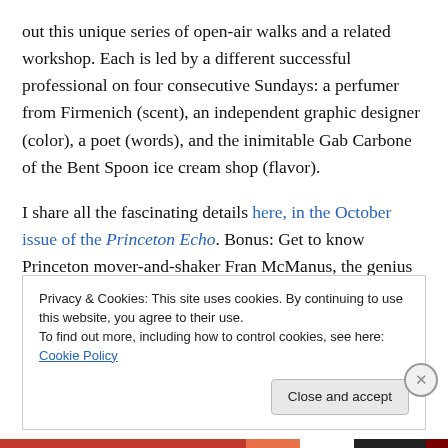out this unique series of open-air walks and a related workshop. Each is led by a different successful professional on four consecutive Sundays: a perfumer from Firmenich (scent), an independent graphic designer (color), a poet (words), and the inimitable Gab Carbone of the Bent Spoon ice cream shop (flavor).
I share all the fascinating details here, in the October issue of the Princeton Echo. Bonus: Get to know Princeton mover-and-shaker Fran McManus, the genius behind the workshops.
Privacy & Cookies: This site uses cookies. By continuing to use this website, you agree to their use. To find out more, including how to control cookies, see here: Cookie Policy